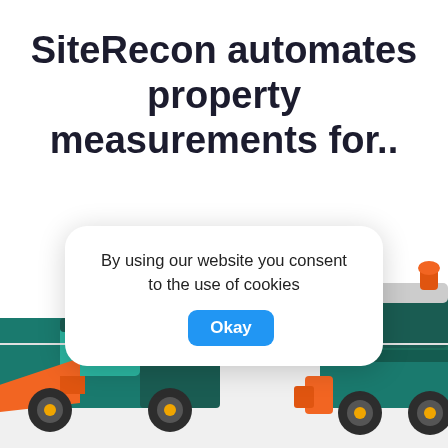SiteRecon automates property measurements for..
[Figure (illustration): Illustration of a snow plow / utility vehicle and municipal truck at the bottom of the page, partially visible, with an orange plow on the left and a dark green/teal truck cab on the right.]
By using our website you consent to the use of cookies  Okay